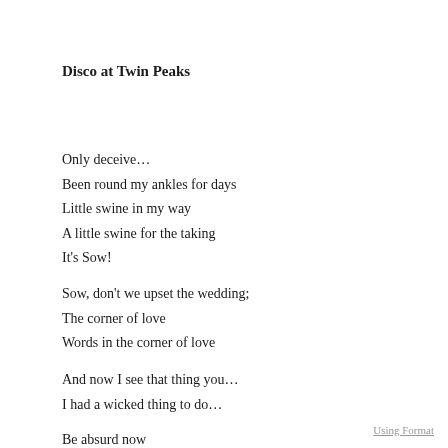Disco at Twin Peaks
Only deceive…
Been round my ankles for days
Little swine in my way
A little swine for the taking
It's Sow!
Sow, don't we upset the wedding;
The corner of love
Words in the corner of love
And now I see that thing you…
I had a wicked thing to do…
Be absurd now
Using Format